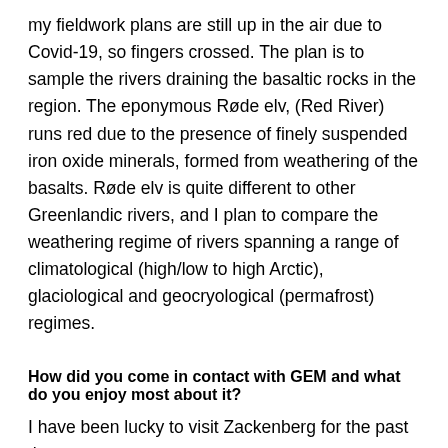my fieldwork plans are still up in the air due to Covid-19, so fingers crossed. The plan is to sample the rivers draining the basaltic rocks in the region. The eponymous Røde elv, (Red River) runs red due to the presence of finely suspended iron oxide minerals, formed from weathering of the basalts. Røde elv is quite different to other Greenlandic rivers, and I plan to compare the weathering regime of rivers spanning a range of climatological (high/low to high Arctic), glaciological and geocryological (permafrost) regimes.
How did you come in contact with GEM and what do you enjoy most about it?
I have been lucky to visit Zackenberg for the past three